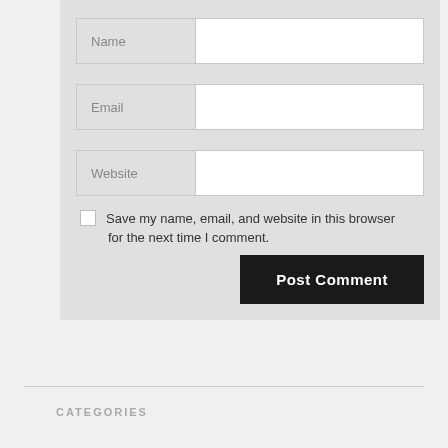Name
Email
Website
Save my name, email, and website in this browser for the next time I comment.
Post Comment
CATEGORIES